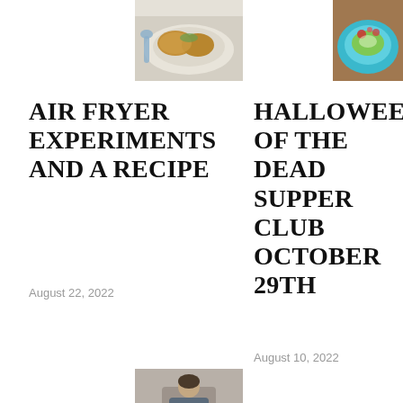[Figure (photo): Food photo: breaded/fried food items on a plate with a blue spoon, top-left area]
[Figure (photo): Food photo: salad or dish on a cyan/teal plate, top-right area]
AIR FRYER EXPERIMENTS AND A RECIPE
HALLOWEEN/... OF THE DEAD SUPPER CLUB OCTOBER 29TH
August 22, 2022
August 10, 2022
[Figure (photo): Photo of a person, partially visible at bottom of page]